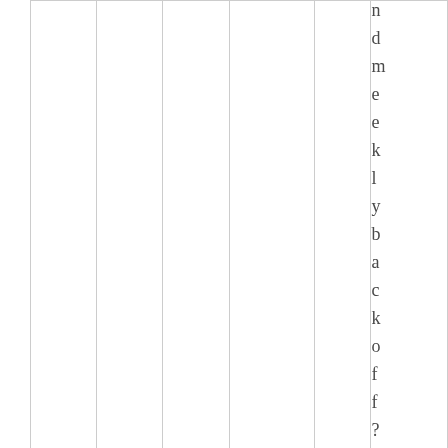|  |  |  |  |  | d m e e k l y b a c k o f f ? |
d m e e k l y b a c k o f f ?